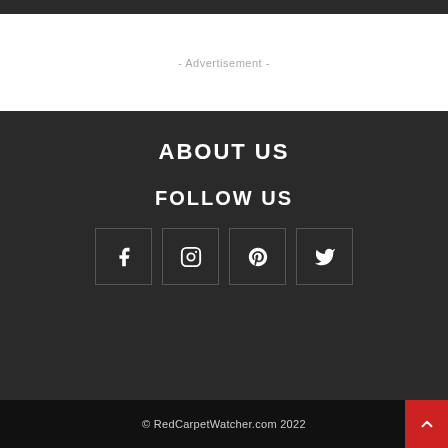- Advertisement -
ABOUT US
FOLLOW US
[Figure (other): Social media icons: Facebook, Instagram, Pinterest, Twitter in bordered square boxes]
© RedCarpetWatcher.com 2022